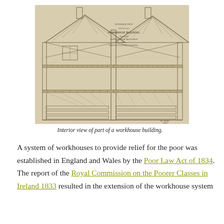[Figure (engineering-diagram): Historical architectural cross-section drawing showing the interior view of part of a workhouse building, with hand-written title 'INTERIOR VIEW Of Part of a WORKHOUSE BUILDING, Shewing the CONSTRUCTION & ARRANGEMENT of the SLEEPING PLATFORMS & SLEEPING...'. The drawing shows two bays with gabled roofs, multiple floor levels, sleeping platforms, stairs, and wooden benches/tables on the ground floor. Drawn in pencil on aged paper with handwritten notes in the upper right area.]
Interior view of part of a workhouse building.
A system of workhouses to provide relief for the poor was established in England and Wales by the Poor Law Act of 1834. The report of the Royal Commission on the Poorer Classes in Ireland 1833 resulted in the extension of the workhouse system